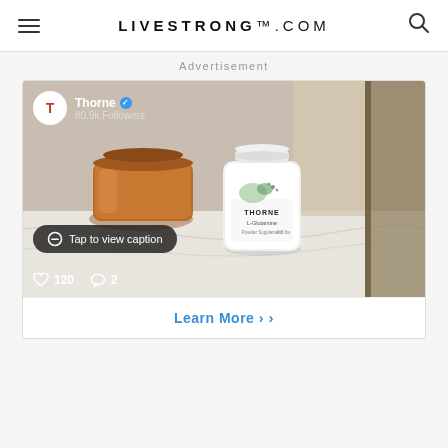LIVESTRONG.COM
Advertisement
[Figure (screenshot): Thorne supplement brand social media post showing a white supplement bottle (Thorne L-Glutamine) on a marble surface next to an amber glass jar. The post shows profile info 'Thorne - 80.9k Followers', a 'Tap to view caption' button, and engagement metrics: 120 likes, 2 comments. Below the image is a 'Learn More >' button.]